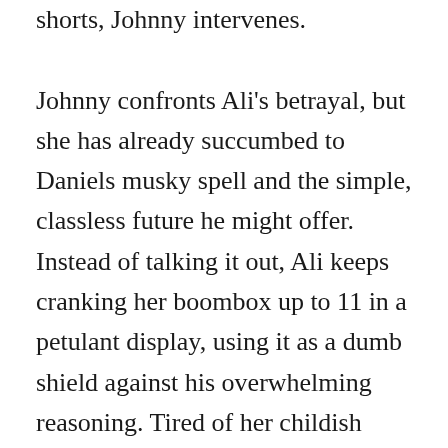shorts, Johnny intervenes.

Johnny confronts Ali's betrayal, but she has already succumbed to Daniels musky spell and the simple, classless future he might offer. Instead of talking it out, Ali keeps cranking her boombox up to 11 in a petulant display, using it as a dumb shield against his overwhelming reasoning. Tired of her childish reaction, Johnny lobs the radio into the soft sand, not intending to break it of course, but only seeking to maneuver the conversation in a constructive direction. But